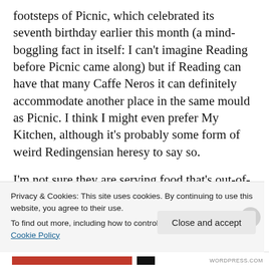footsteps of Picnic, which celebrated its seventh birthday earlier this month (a mind-boggling fact in itself: I can't imagine Reading before Picnic came along) but if Reading can have that many Caffe Neros it can definitely accommodate another place in the same mould as Picnic. I think I might even prefer My Kitchen, although it's probably some form of weird Redingensian heresy to say so.
I'm not sure they are serving food that's out-of-this-world inventive, but that's not what they're about
Privacy & Cookies: This site uses cookies. By continuing to use this website, you agree to their use.
To find out more, including how to control cookies, see here: Cookie Policy